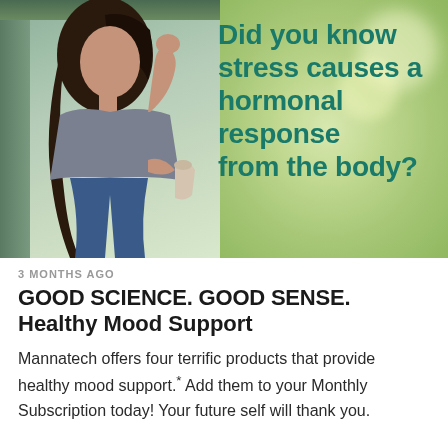[Figure (photo): Woman sitting by a window holding a cup, looking outside at a green bokeh background. Text overlay on right reads: 'Did you know stress causes a hormonal response from the body?']
3 MONTHS AGO
GOOD SCIENCE. GOOD SENSE. Healthy Mood Support
Mannatech offers four terrific products that provide healthy mood support.* Add them to your Monthly Subscription today! Your future self will thank you.